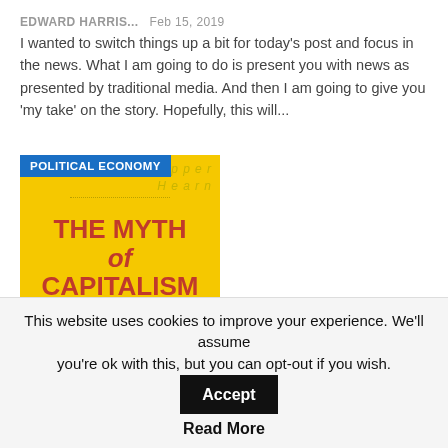EDWARD HARRIS...   Feb 15, 2019
I wanted to switch things up a bit for today's post and focus in the news. What I am going to do is present you with news as presented by traditional media. And then I am going to give you 'my take' on the story. Hopefully, this will...
[Figure (illustration): Book cover of 'The Myth of Capitalism: Monopolies and the Death' by Tepper and Hearn, yellow background with red title text, blue 'POLITICAL ECONOMY' label in top left corner]
Tepper: The Myth of Capitalism – my review
EDWARD HARRIS...   Nov 30, 2018
I am going to do a book review of an econ book that has just come out.
This website uses cookies to improve your experience. We'll assume you're ok with this, but you can opt-out if you wish.
Accept
Read More